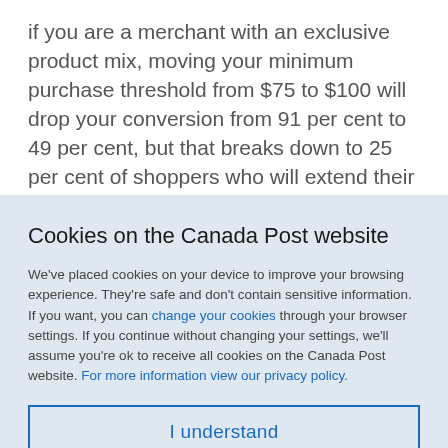if you are a merchant with an exclusive product mix, moving your minimum purchase threshold from $75 to $100 will drop your conversion from 91 per cent to 49 per cent, but that breaks down to 25 per cent of shoppers who will extend their basket an extra $25 to get free shipping. Ask yourself, "is the increase in average basket size enough to offset the decrease in conversion?"
Cookies on the Canada Post website
We've placed cookies on your device to improve your browsing experience. They're safe and don't contain sensitive information. If you want, you can change your cookies through your browser settings. If you continue without changing your settings, we'll assume you're ok to receive all cookies on the Canada Post website. For more information view our privacy policy.
I understand